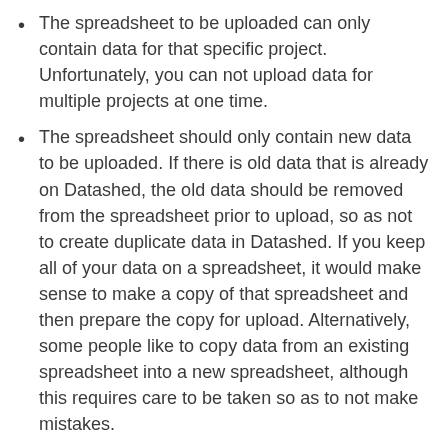The spreadsheet to be uploaded can only contain data for that specific project.  Unfortunately, you can not upload data for multiple projects at one time.
The spreadsheet should only contain new data to be uploaded.  If there is old data that is already on Datashed, the old data should be removed from the spreadsheet prior to upload, so as not to create duplicate data in Datashed.  If you keep all of your data on a spreadsheet, it would make sense to make a copy of that spreadsheet and then prepare the copy for upload.  Alternatively, some people like to copy data from an existing spreadsheet into a new spreadsheet, although this requires care to be taken so as to not make mistakes.